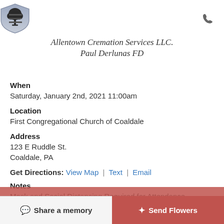Allentown Cremation Services LLC. Paul Derlunas FD
When
Saturday, January 2nd, 2021 11:00am
Location
First Congregational Church of Coaldale
Address
123 E Ruddle St.
Coaldale, PA
Get Directions: View Map | Text | Email
Notes
Mask and Social Distancing Required for Attendance
Share a memory | Send Flowers